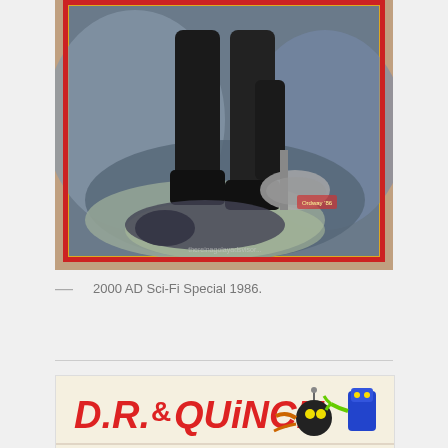[Figure (illustration): Cover of 2000 AD Sci-Fi Special 1986 showing a dark armored figure standing over a defeated foe, holding a weapon, with a red border frame]
— 2000 AD Sci-Fi Special 1986.
[Figure (illustration): Comic book cover or panel featuring D.R. & Quinch characters in colorful cartoon style with large red lettering]